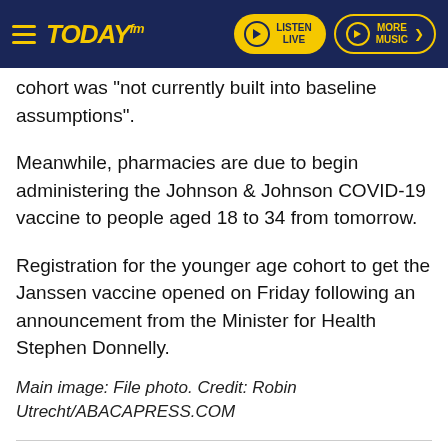TODAY fm — LISTEN LIVE | MORE MUSIC
cohort was "not currently built into baseline assumptions".
Meanwhile, pharmacies are due to begin administering the Johnson & Johnson COVID-19 vaccine to people aged 18 to 34 from tomorrow.
Registration for the younger age cohort to get the Janssen vaccine opened on Friday following an announcement from the Minister for Health Stephen Donnelly.
Main image: File photo. Credit: Robin Utrecht/ABACAPRESS.COM
SHARE THIS ARTICLE